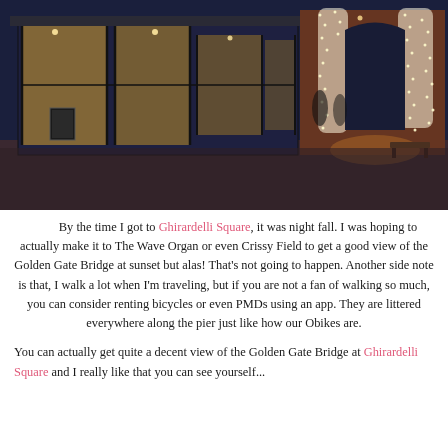[Figure (photo): Nighttime photo of Ghirardelli Square showing a shop with large glass windows lit from inside, and a brick building exterior draped with warm white string lights forming a curtain arch. The sky is dark blue and there is a paved plaza in the foreground.]
By the time I got to Ghirardelli Square, it was night fall. I was hoping to actually make it to The Wave Organ or even Crissy Field to get a good view of the Golden Gate Bridge at sunset but alas! That's not going to happen. Another side note is that, I walk a lot when I'm traveling, but if you are not a fan of walking so much, you can consider renting bicycles or even PMDs using an app. They are littered everywhere along the pier just like how our Obikes are.
You can actually get quite a decent view of the Golden Gate Bridge at Ghirardelli Square and I really like that you can see yourself...